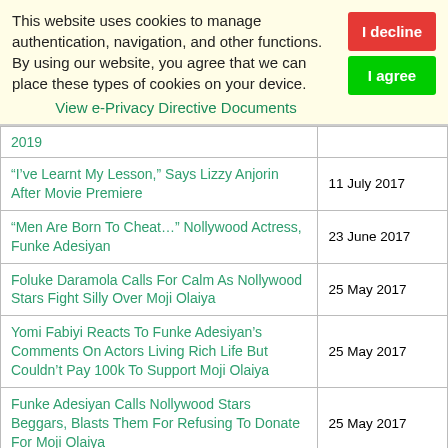This website uses cookies to manage authentication, navigation, and other functions. By using our website, you agree that we can place these types of cookies on your device. View e-Privacy Directive Documents
| Title | Date |
| --- | --- |
| 2019 |  |
| “I’ve Learnt My Lesson,” Says Lizzy Anjorin After Movie Premiere | 11 July 2017 |
| “Men Are Born To Cheat…” Nollywood Actress, Funke Adesiyan | 23 June 2017 |
| Foluke Daramola Calls For Calm As Nollywood Stars Fight Silly Over Moji Olaiya | 25 May 2017 |
| Yomi Fabiyi Reacts To Funke Adesiyan’s Comments On Actors Living Rich Life But Couldn’t Pay 100k To Support Moji Olaiya | 25 May 2017 |
| Funke Adesiyan Calls Nollywood Stars Beggars, Blasts Them For Refusing To Donate For Moji Olaiya | 25 May 2017 |